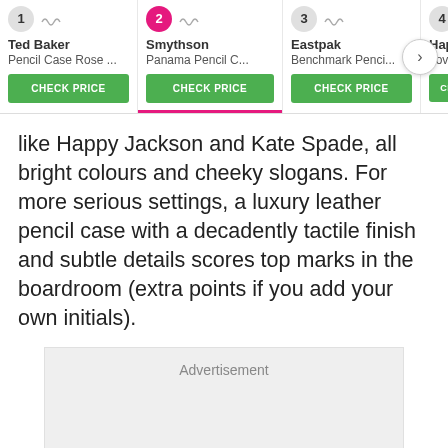[Figure (screenshot): Product carousel showing 4 pencil case product cards with brand names, product names, and green CHECK PRICE buttons. Cards: 1-Ted Baker Pencil Case Rose..., 2-Smythson Panama Pencil C... (active, pink badge), 3-Eastpak Benchmark Penci..., 4-Happy Jack... Love Penci... (partially visible). A navigation arrow button is shown on the right.]
like Happy Jackson and Kate Spade, all bright colours and cheeky slogans. For more serious settings, a luxury leather pencil case with a decadently tactile finish and subtle details scores top marks in the boardroom (extra points if you add your own initials).
Advertisement